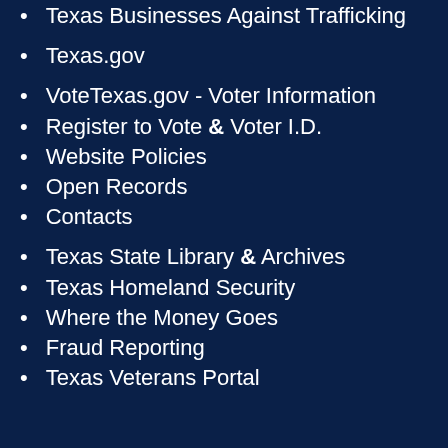Texas Businesses Against Trafficking
Texas.gov
VoteTexas.gov - Voter Information
Register to Vote & Voter I.D.
Website Policies
Open Records
Contacts
Texas State Library & Archives
Texas Homeland Security
Where the Money Goes
Fraud Reporting
Texas Veterans Portal